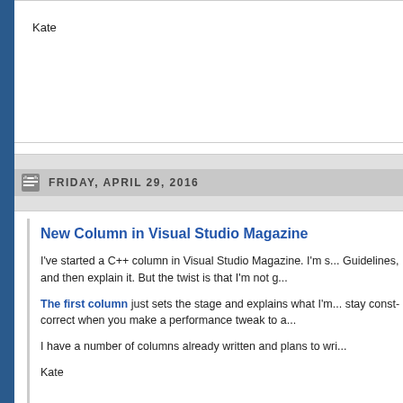Kate
FRIDAY, APRIL 29, 2016
New Column in Visual Studio Magazine
I've started a C++ column in Visual Studio Magazine. I'm s... Guidelines, and then explain it. But the twist is that I'm not g...
The first column just sets the stage and explains what I'm... stay const-correct when you make a performance tweak to a...
I have a number of columns already written and plans to wri...
Kate